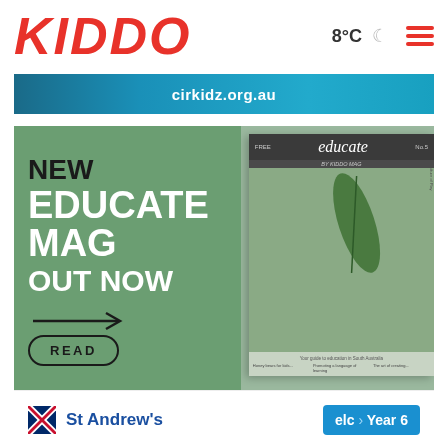KIDDO | 8°C | Menu
[Figure (screenshot): Banner advertisement for cirkidz.org.au with teal/blue background]
[Figure (infographic): Advertisement for NEW EDUCATE MAG OUT NOW with green background, arrow, READ button, and a magazine cover showing 'educate by KIDDO MAG' with a leaf image]
[Figure (logo): St Andrew's school advertisement with blue cross logo and 'elc Year 6' badge]